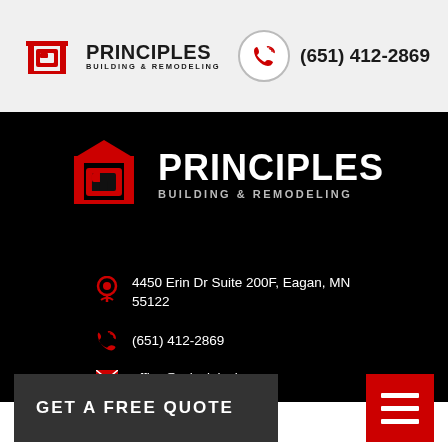[Figure (logo): Principles Building & Remodeling logo with red building icon in header]
(651) 412-2869
[Figure (logo): Principles Building & Remodeling logo centered on black background]
4450 Erin Dr Suite 200F, Eagan, MN 55122
(651) 412-2869
office@principlesbr.com
GET A FREE QUOTE
[Figure (illustration): Red hamburger menu icon with three white horizontal lines]